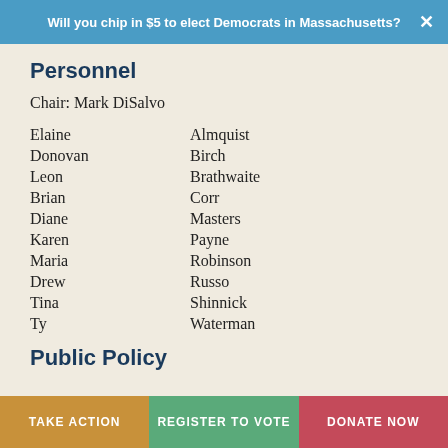Will you chip in $5 to elect Democrats in Massachusetts?
Personnel
Chair: Mark DiSalvo
Elaine Almquist
Donovan Birch
Leon Brathwaite
Brian Corr
Diane Masters
Karen Payne
Maria Robinson
Drew Russo
Tina Shinnick
Ty Waterman
Public Policy
TAKE ACTION | REGISTER TO VOTE | DONATE NOW